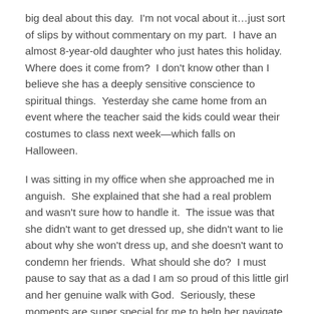big deal about this day.  I'm not vocal about it…just sort of slips by without commentary on my part.  I have an almost 8-year-old daughter who just hates this holiday.  Where does it come from?  I don't know other than I believe she has a deeply sensitive conscience to spiritual things.  Yesterday she came home from an event where the teacher said the kids could wear their costumes to class next week—which falls on Halloween.
I was sitting in my office when she approached me in anguish.  She explained that she had a real problem and wasn't sure how to handle it.  The issue was that she didn't want to get dressed up, she didn't want to lie about why she won't dress up, and she doesn't want to condemn her friends.  What should she do?  I must pause to say that as a dad I am so proud of this little girl and her genuine walk with God.  Seriously, these moments are super special for me to help her navigate life in this world.  Nothing greater than being pastor dad!